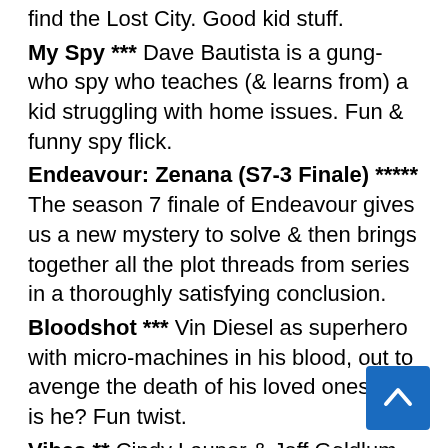find the Lost City. Good kid stuff.
My Spy *** Dave Bautista is a gung-who spy who teaches (& learns from) a kid struggling with home issues. Fun & funny spy flick.
Endeavour: Zenana (S7-3 Finale) ***** The season 7 finale of Endeavour gives us a new mystery to solve & then brings together all the plot threads from series in a thoroughly satisfying conclusion.
Bloodshot *** Vin Diesel as superhero with micro-machines in his blood, out to avenge the death of his loved ones, or is he? Fun twist.
Vibes ** Cindy Lauper & Jeff Goldlum accompany Peter Falk on the trail of psychic pyramid in South America. Goofy. Some fun.
Phantom from Space ** Alien fallen to Earth is invisible, except when in his space suit. Some fun stuff, but also slow at times.
Tales of Tomorrow – "All the Time in the World" ** thief is given a time-stopping device in order to purloin the world's great masterpieces. But why? Interesting idea.